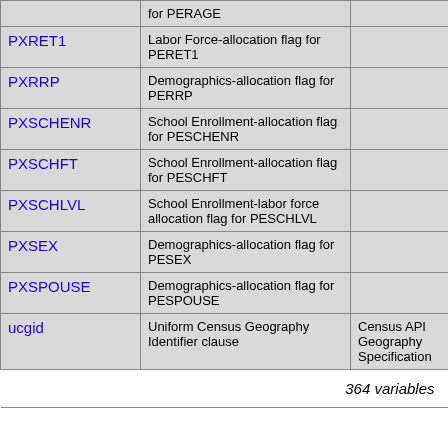| Name | Description | Concept | Required |
| --- | --- | --- | --- |
| PXRET1 | Labor Force-allocation flag for PERET1 |  | not required |
| PXRRP | Demographics-allocation flag for PERRP |  | not required |
| PXSCHENR | School Enrollment-allocation flag for PESCHENR |  | not required |
| PXSCHFT | School Enrollment-allocation flag for PESCHFT |  | not required |
| PXSCHLVL | School Enrollment-labor force allocation flag for PESCHLVL |  | not required |
| PXSEX | Demographics-allocation flag for PESEX |  | not required |
| PXSPOUSE | Demographics-allocation flag for PESPOUSE |  | not required |
| ucgid | Uniform Census Geography Identifier clause | Census API Geography Specification | predicate only |
|  |  |  | 364 variables |